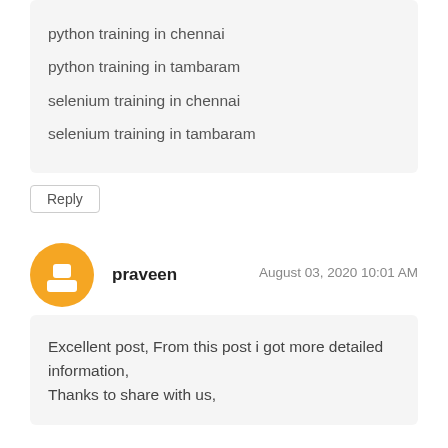python training in chennai
python training in tambaram
selenium training in chennai
selenium training in tambaram
Reply
praveen
August 03, 2020 10:01 AM
Excellent post, From this post i got more detailed information,
Thanks to share with us,